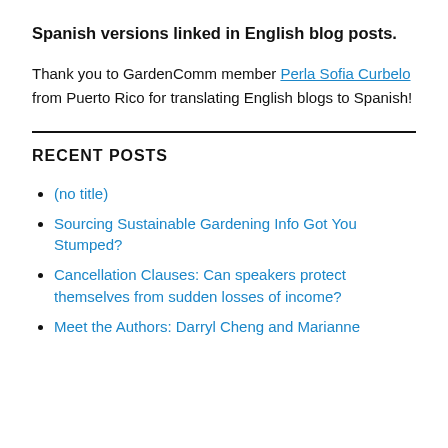Spanish versions linked in English blog posts.
Thank you to GardenComm member Perla Sofia Curbelo from Puerto Rico for translating English blogs to Spanish!
RECENT POSTS
(no title)
Sourcing Sustainable Gardening Info Got You Stumped?
Cancellation Clauses: Can speakers protect themselves from sudden losses of income?
Meet the Authors: Darryl Cheng and Marianne